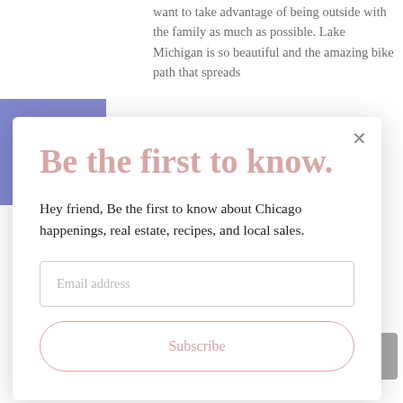want to take advantage of being outside with the family as much as possible. Lake Michigan is so beautiful and the amazing bike path that spreads
[Figure (other): Blue sidebar/header block with partial letter visible]
Be the first to know.
Hey friend, Be the first to know about Chicago happenings, real estate, recipes, and local sales.
Email address
Subscribe
special family dinner at The Dock at Montrose Beach.